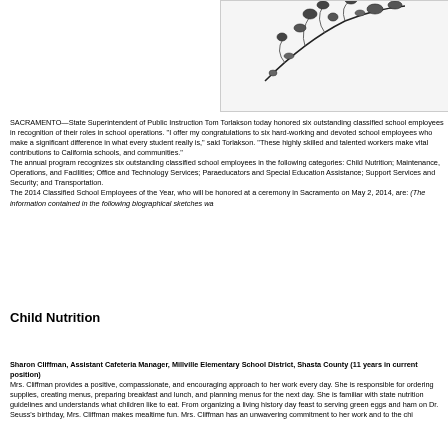[Figure (illustration): Partial decorative illustration or emblem, showing a dark sketched floral or branch motif at top of page, cropped within a bordered box.]
SACRAMENTO—State Superintendent of Public Instruction Tom Torlakson today honored six outstanding classified school employees in recognition of their roles in school operations. "I offer my congratulations to six hard-working and devoted school employees who make a significant difference in what every student really is," said Torlakson. "These highly skilled and talented workers make vital contributions to California students, schools, and communities." The annual program recognizes six outstanding classified school employees in the following categories: Child Nutrition; Maintenance, Operations, and Facilities; Office and Technology Services; Paraeducators and Special Education Assistance; Support Services and Security; and Transportation. The 2014 Classified School Employees of the Year, who will be honored at a ceremony in Sacramento on May 2, 2014, are: (The information contained in the following biographical sketches wa
Child Nutrition
Sharon Cliffman, Assistant Cafeteria Manager, Millville Elementary School District, Shasta County (11 years in current position)
Mrs. Cliffman provides a positive, compassionate, and encouraging approach to her work every day. She is responsible for ordering supplies, creating menus, preparing breakfast and lunch, and planning menus for the next day. She is familiar with state nutrition guidelines and understands what children like to eat. From organizing a living history day feast to serving green eggs and ham on Dr. Seuss's birthday, Mrs. Cliffman makes mealtime fun. Mrs. Cliffman has an unwavering commitment to her work and to the chi